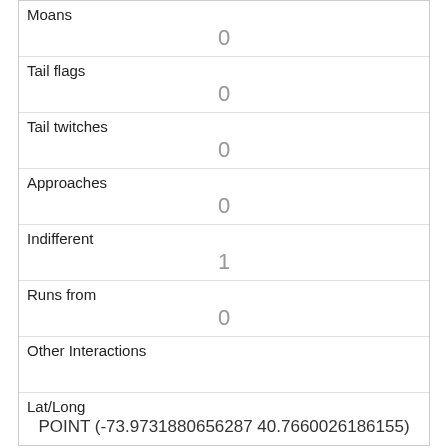| Moans | 0 |
| Tail flags | 0 |
| Tail twitches | 0 |
| Approaches | 0 |
| Indifferent | 1 |
| Runs from | 0 |
| Other Interactions |  |
| Lat/Long | POINT (-73.9731880656287 40.7660026186155) |
| Link | 1210 |
| rowid | 1210 |